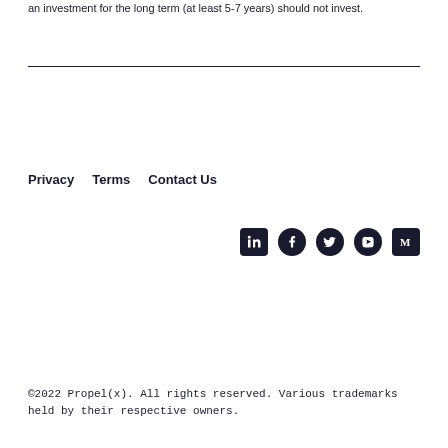an investment for the long term (at least 5-7 years) should not invest.
Privacy   Terms   Contact Us
[Figure (other): Social media icons: LinkedIn, Facebook, Twitter, YouTube, Medium]
©2022 Propel(x). All rights reserved. Various trademarks held by their respective owners.